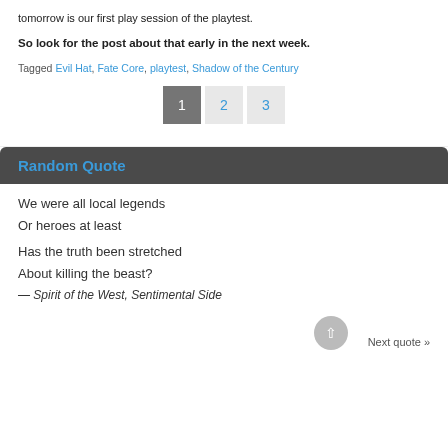tomorrow is our first play session of the playtest.
So look for the post about that early in the next week.
Tagged Evil Hat, Fate Core, playtest, Shadow of the Century
1  2  3
Random Quote
We were all local legends
Or heroes at least
Has the truth been stretched
About killing the beast?
— Spirit of the West, Sentimental Side
Next quote »